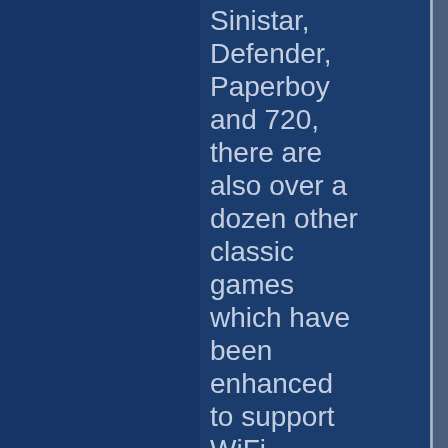Sinistar, Defender, Paperboy and 720, there are also over a dozen other classic games which have been enhanced to support WiFi multiplayer. These include classics like Gauntlet, Joust and Rampage, but also the cult classics Mortal Kombat I, II,